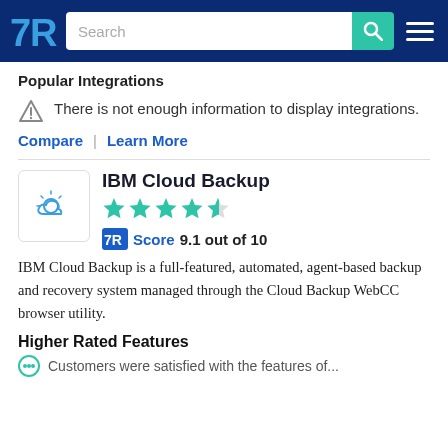TrustRadius navigation bar with search
Popular Integrations
There is not enough information to display integrations.
Compare | Learn More
IBM Cloud Backup
[Figure (other): Star rating: 4.5 out of 5 stars (teal stars)]
Score 9.1 out of 10
IBM Cloud Backup is a full-featured, automated, agent-based backup and recovery system managed through the Cloud Backup WebCC browser utility.
Higher Rated Features